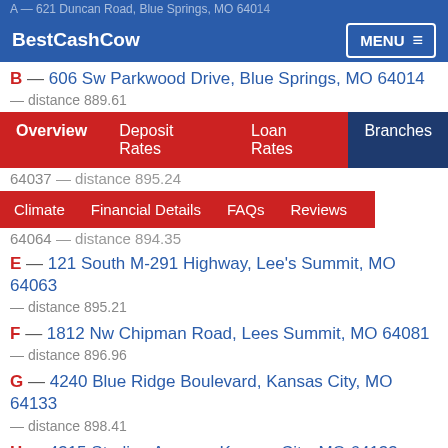BestCashCow — MENU
A — 621 Duncan Road, Blue Springs, MO 64014
B — 606 Sw Parkwood Drive, Blue Springs, MO 64014 — distance 889.61
[Figure (screenshot): Navigation tab bar with Overview, Deposit Rates, Loan Rates, Branches tabs]
64037 — distance 895.24
[Figure (screenshot): Secondary tab bar with Climate, Financial Details, FAQs, Reviews tabs]
it, MO 64064 — distance 894.35
E — 121 South M-291 Highway, Lee's Summit, MO 64063 — distance 895.21
F — 1812 Nw Chipman Road, Lees Summit, MO 64081 — distance 896.96
G — 4240 Blue Ridge Boulevard, Kansas City, MO 64133 — distance 898.41
H — 4315 Sterling Avenue, Kansas City, MO 64133 — distance 898.89
I — 6202 Raytown Trafficway, Raytown, MO 64133 — distance 899.89